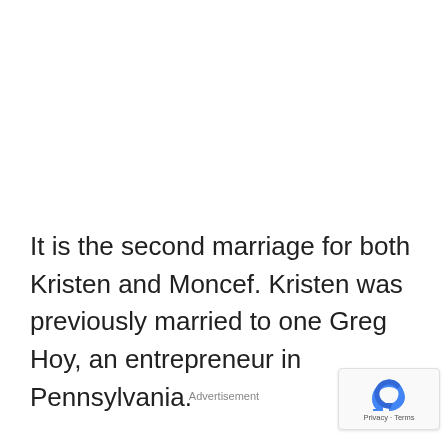It is the second marriage for both Kristen and Moncef. Kristen was previously married to one Greg Hoy, an entrepreneur in Pennsylvania.
Advertisement